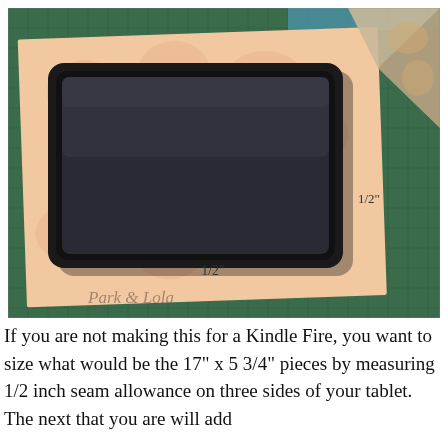[Figure (photo): A Kindle Fire tablet placed on decorative scrapbook paper (peach floral pattern) on top of a green cutting mat. Two measurement annotations show '1/2"' — one at the bottom of the tablet and one at the right side. In the bottom-right corner, a folded piece of paper is partially visible. The paper has a 'Park & Lola' watermark/script text at the bottom-left.]
If you are not making this for a Kindle Fire, you want to size what would be the 17" x 5 3/4" pieces by measuring 1/2 inch seam allowance on three sides of your tablet. The next that you are will add